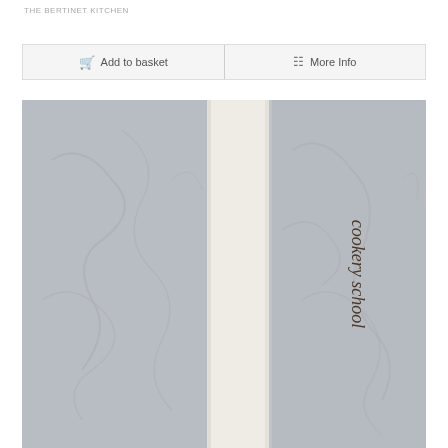THE BERTINET KITCHEN
Add to basket | More Info
[Figure (photo): Photo of a book spine showing 'THE BERTINET KITCHEN cookery school' text on a cream/white spine, against a grey textured wall background]